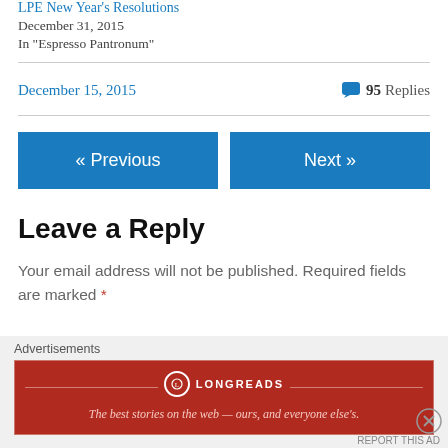LPE New Year's Resolutions
December 31, 2015
In "Espresso Pantronum"
December 15, 2015
95 Replies
« Previous
Next »
Leave a Reply
Your email address will not be published. Required fields are marked *
Advertisements
[Figure (other): Longreads advertisement banner: red background with Longreads logo and tagline 'The best stories on the web — ours, and everyone else's.']